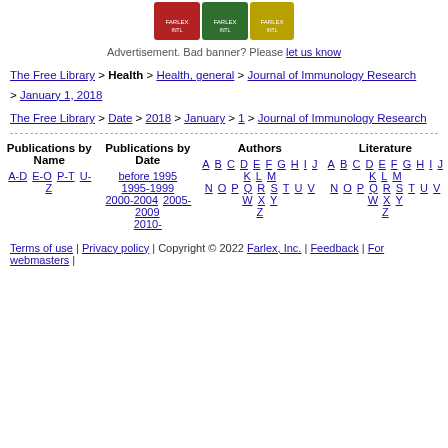[Figure (other): Advertisement banner image showing Farlex International book/product images]
Advertisement. Bad banner? Please let us know
The Free Library > Health > Health, general > Journal of Immunology Research > January 1, 2018
The Free Library > Date > 2018 > January > 1 > Journal of Immunology Research
| Publications by Name | Publications by Date | Authors | Literature |
| --- | --- | --- | --- |
| A-D E-O P-T U-Z | before 1995  1995-1999
2000-2004  2005-2009
2010- | A B C D E F G H I J K L M
N O P Q R S T U V W X Y
Z | A B C D E F G H I J K L M
N O P Q R S T U V W X Y
Z |
Terms of use | Privacy policy | Copyright © 2022 Farlex, Inc. | Feedback | For webmasters |